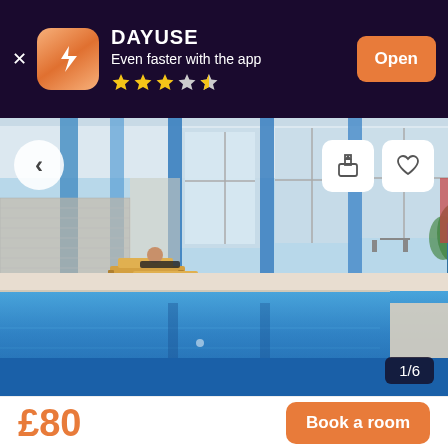DAYUSE
Even faster with the app
★★★☆½
Open
[Figure (photo): Indoor swimming pool with blue water, lounge chairs on the poolside, a person reclining on a chair, blue pillars, large windows, plants in background. Photo counter shows 1/6.]
£80
Book a room